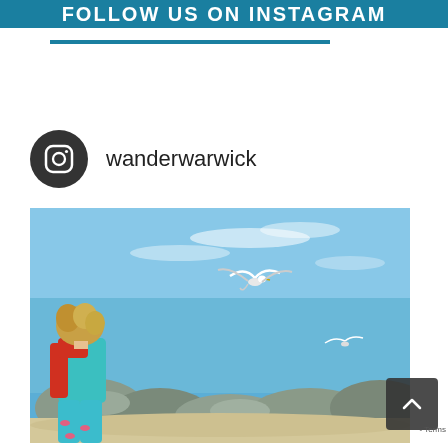FOLLOW US ON INSTAGRAM
wanderwarwick
[Figure (photo): Child in colorful swimwear on a rocky beach watching seagulls fly against a blue sky]